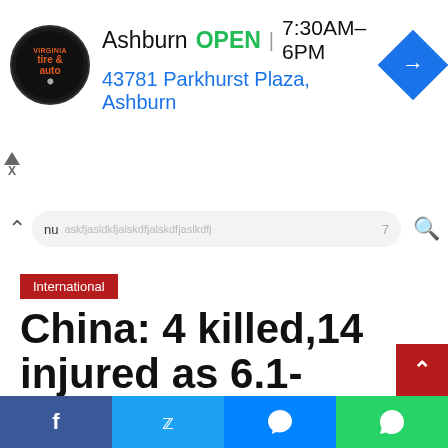[Figure (screenshot): Advertisement banner for Virginia Tire & Auto: logo on left, text 'Ashburn OPEN | 7:30AM–6PM' and '43781 Parkhurst Plaza, Ashburn' in blue, navigation arrow icon on right]
nu   [navigation bar with URL and search icon]
International
China: 4 killed,14 injured as 6.1-magnitude earthquake hits Sichuan
Wednesday's earthquake was followed by another
[Share bar: Facebook, Twitter, Messenger, WhatsApp]